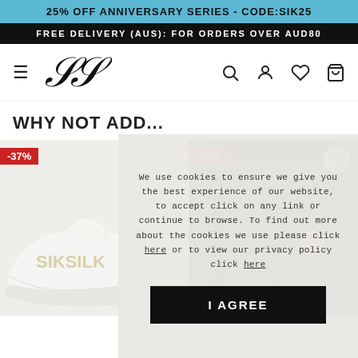25% OFF ANNIVERSARY SERIES - CODE:SIK25
FREE DELIVERY (AUS): FOR ORDERS OVER AUD80
[Figure (logo): SikSilk brand logo - stylized script SS initials]
WHY NOT ADD...
[Figure (photo): White sneaker shoe product with gold branding, -37% discount badge]
[Figure (photo): Navy blue pants/trousers product with gold logo, -60% discount badge]
[Figure (photo): Partial product image with -40% discount badge]
We use cookies to ensure we give you the best experience of our website, to accept click on any link or continue to browse. To find out more about the cookies we use please click here or to view our privacy policy click here
I AGREE